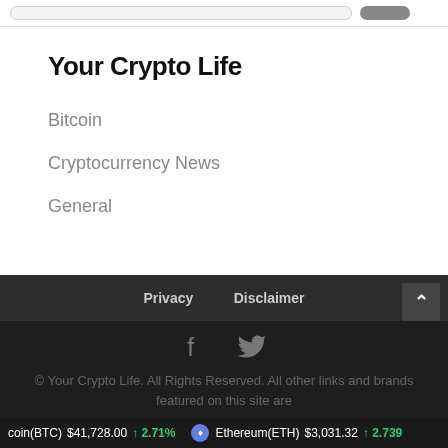Your Crypto Life
Bitcoin
Cryptocurrency News
General
Privacy   Disclaimer
© Your Crypto Life. All Rights Reserved. All other links and brands featured on this site are
Bitcoin(BTC) $41,728.00 ↑ 2.71%   Ethereum(ETH) $3,031.32 ↑ 2.739